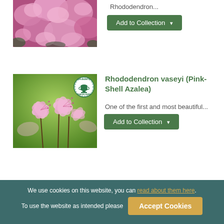[Figure (photo): Partial view of pink rhododendron flowers, top of page]
Rhododendron...
Add to Collection
[Figure (photo): Pink-Shell Azalea (Rhododendron vaseyi) flowers on green background with RHS Award of Garden Merit badge]
Rhododendron vaseyi (Pink-Shell Azalea)
One of the first and most beautiful...
Add to Collection
We use cookies on this website, you can read about them here. To use the website as intended please Accept Cookies